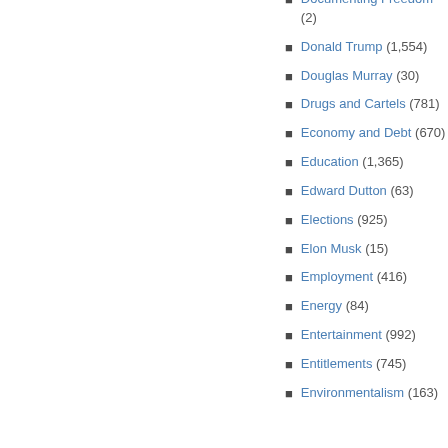Documenting Freedom (2)
Donald Trump (1,554)
Douglas Murray (30)
Drugs and Cartels (781)
Economy and Debt (670)
Education (1,365)
Edward Dutton (63)
Elections (925)
Elon Musk (15)
Employment (416)
Energy (84)
Entertainment (992)
Entitlements (745)
Environmentalism (163)